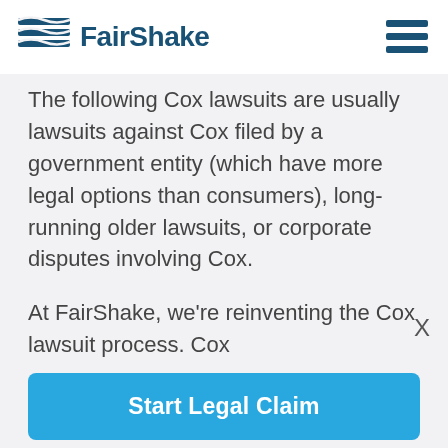FairShake
The following Cox lawsuits are usually lawsuits against Cox filed by a government entity (which have more legal options than consumers), long-running older lawsuits, or corporate disputes involving Cox.
At FairShake, we're reinventing the Cox lawsuit process. Cox
Start Legal Claim